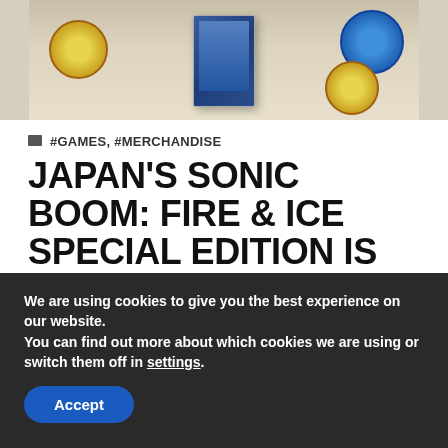[Figure (photo): Photo of Japan's Sonic Boom: Fire & Ice Special Edition game box with merchandise stickers/pins spread around it on a light-colored surface]
#GAMES, #MERCHANDISE
JAPAN'S SONIC BOOM: FIRE & ICE SPECIAL EDITION IS MAKING US ALL JEALOUS
We are using cookies to give you the best experience on our website.
You can find out more about which cookies we are using or switch them off in settings.
Accept